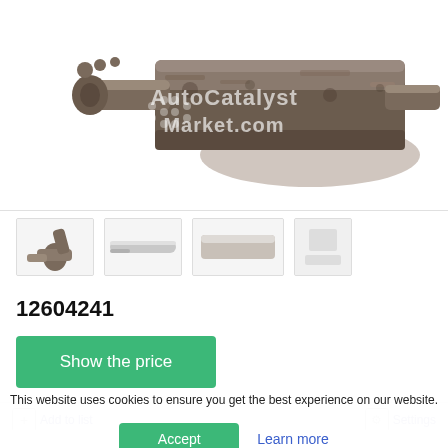[Figure (photo): Photo of a catalytic converter part with AutoCatalystMarket.com watermark. Three thumbnail images below showing different angles of the part, plus one placeholder thumbnail.]
12604241
Show the price
Add to list
Settings
This website uses cookies to ensure you get the best experience on our website.
Accept
Learn more
Ref: